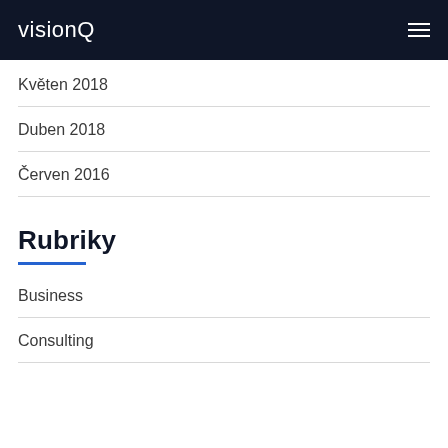visionQ
Květen 2018
Duben 2018
Červen 2016
Rubriky
Business
Consulting